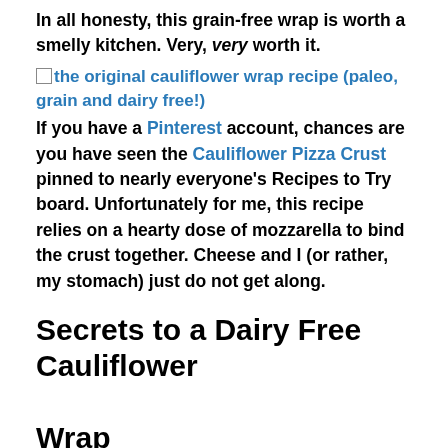In all honesty, this grain-free wrap is worth a smelly kitchen. Very, very worth it.
[Figure (other): Broken image placeholder for 'the original cauliflower wrap recipe (paleo, grain and dairy free!)' — shown as a link with image icon]
If you have a Pinterest account, chances are you have seen the Cauliflower Pizza Crust pinned to nearly everyone's Recipes to Try board. Unfortunately for me, this recipe relies on a hearty dose of mozzarella to bind the crust together. Cheese and I (or rather, my stomach) just do not get along.
Secrets to a Dairy Free Cauliflower Wrap
I recently began experimenting with a dairy free cauliflower wrap just like Stephanie over at...